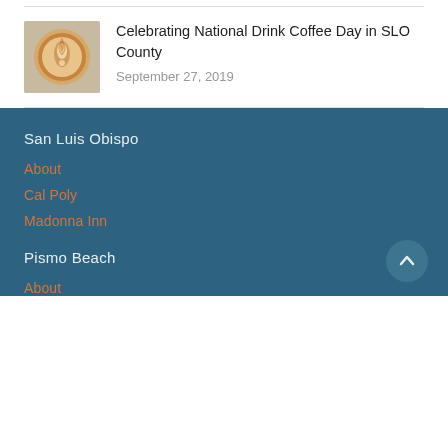[Figure (photo): Thumbnail image of a latte coffee with latte art on top, viewed from above]
Celebrating National Drink Coffee Day in SLO County
September 27, 2019
San Luis Obispo
About
Cal Poly
Madonna Inn
Pismo Beach
About